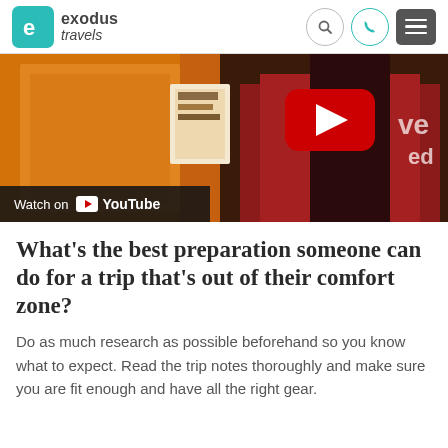exodus travels
[Figure (screenshot): YouTube video thumbnail showing a person in a red puffer jacket inside an orange tent, with a YouTube play button overlay and 'Watch on YouTube' bar at the bottom left]
What's the best preparation someone can do for a trip that's out of their comfort zone?
Do as much research as possible beforehand so you know what to expect. Read the trip notes thoroughly and make sure you are fit enough and have all the right gear.